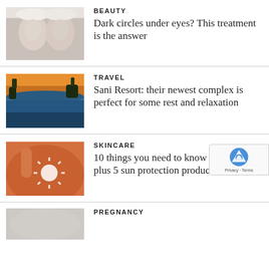BEAUTY
Dark circles under eyes? This treatment is the answer
[Figure (photo): Two women with white towel headbands, side-by-side beauty comparison photo]
TRAVEL
Sani Resort: their newest complex is perfect for some rest and relaxation
[Figure (photo): Tropical infinity pool at sunset with trees silhouetted against orange sky]
SKINCARE
10 things you need to know about SPF - plus 5 sun protection products we love
[Figure (photo): Close-up of person applying sun cream on shoulder with sun drawn in cream]
PREGNANCY